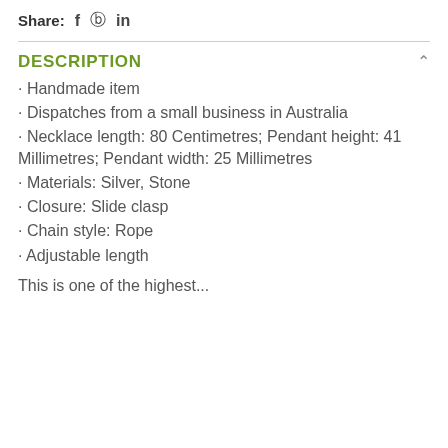Share: f ⊕ in
DESCRIPTION
· Handmade item
· Dispatches from a small business in Australia
· Necklace length: 80 Centimetres; Pendant height: 41 Millimetres; Pendant width: 25 Millimetres
· Materials: Silver, Stone
· Closure: Slide clasp
· Chain style: Rope
· Adjustable length
This is one of the highest...